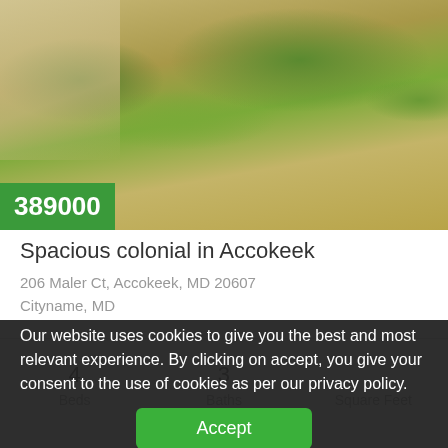[Figure (photo): Exterior photo of a house showing lawn/grass area with a sidewalk corner visible in the upper left. The grass appears dry/brown in patches. A green price badge showing '389000' overlays the bottom-left of the image.]
Spacious colonial in Accokeek
206 Maler Ct, Accokeek, MD 20607
Cityname, MD
|  |  |  |
| --- | --- | --- |
| 4 | 3 |  |
| Beds | Baths | Square Feet |
Our website uses cookies to give you the best and most relevant experience. By clicking on accept, you give your consent to the use of cookies as per our privacy policy.